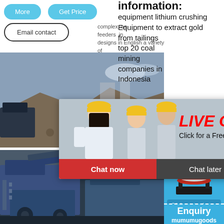More
Get Price
Email contact
information: equipment lithium crushing Equipment to extract gold from tailings top 20 coal mining companies in Indonesia
complex, as feeders in designs in English a variety of
[Figure (photo): Mining site with excavated material and heavy equipment in background]
[Figure (photo): Live chat popup with workers in yellow hard hats, LIVE CHAT text in red italic, Click for a Free Consultation, Chat now and Chat later buttons]
[Figure (photo): Blue heavy mining machinery and conveyor equipment]
hour online
[Figure (photo): White cone crusher machine on blue background]
Click me to chat>>
Enquiry
mumumugoods